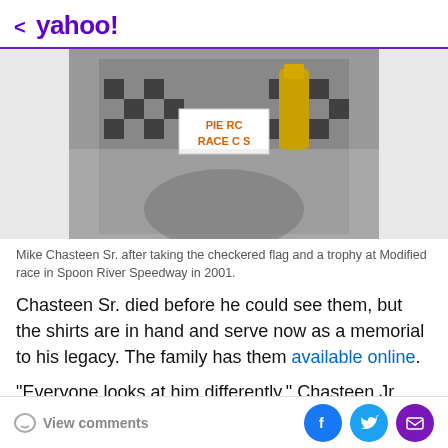< yahoo!
[Figure (photo): Mike Chasteen Sr. wearing a checkered racing suit, holding a trophy and a sign reading 'PIERCE RACE CARS' at Modified race in Spoon River Speedway in 2001.]
Mike Chasteen Sr. after taking the checkered flag and a trophy at Modified race in Spoon River Speedway in 2001.
Chasteen Sr. died before he could see them, but the shirts are in hand and serve now as a memorial to his legacy. The family has them available online.
"Everyone looks at him differently," Chasteen Jr. said. "I always just looked at him as dad. It took four years until I got my first win. It was tough, and all I wanted to do was
View comments